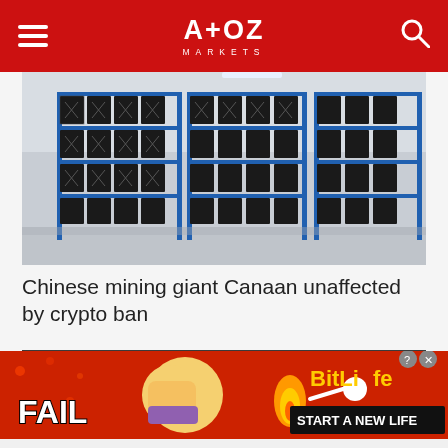A+OZ MARKETS
[Figure (photo): Rows of cryptocurrency mining rigs on blue metal shelving racks in a large warehouse facility]
Chinese mining giant Canaan unaffected by crypto ban
[Figure (infographic): Infolinks ad banner with dark background and blue triangle shape, with 'infolinks' badge in bottom left]
[Figure (infographic): BitLife game advertisement with red background, 'FAIL' text, cartoon character, fire, and 'START A NEW LIFE' text on black banner]